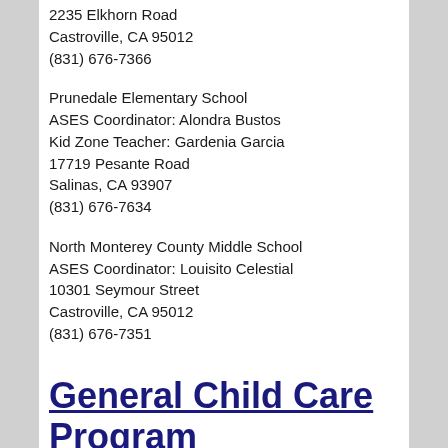2235 Elkhorn Road
Castroville, CA 95012
(831) 676-7366
Prunedale Elementary School
ASES Coordinator: Alondra Bustos
Kid Zone Teacher: Gardenia Garcia
17719 Pesante Road
Salinas, CA 93907
(831) 676-7634
North Monterey County Middle School
ASES Coordinator: Louisito Celestial
10301 Seymour Street
Castroville, CA 95012
(831) 676-7351
General Child Care Program
Subsidized child care is provided before and